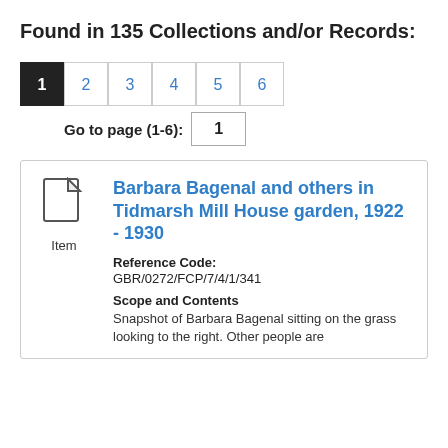Found in 135 Collections and/or Records:
Pagination: 1 2 3 4 5 6
Go to page (1-6): 1
Barbara Bagenal and others in Tidmarsh Mill House garden, 1922 - 1930
Reference Code: GBR/0272/FCP/7/4/1/341
Scope and Contents
Snapshot of Barbara Bagenal sitting on the grass looking to the right. Other people are